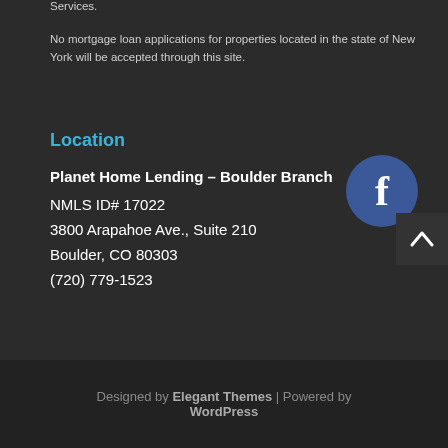Services.
No mortgage loan applications for properties located in the state of New York will be accepted through this site.
Location
Planet Home Lending – Boulder Branch
NMLS ID# 17022
3800 Arapahoe Ave., Suite 210
Boulder, CO 80303
(720) 779-1523
[Figure (logo): Facebook circular icon, dark blue background with white 'f' letter]
[Figure (other): Scroll to top button, dark grey square with upward caret arrow]
Designed by Elegant Themes | Powered by WordPress